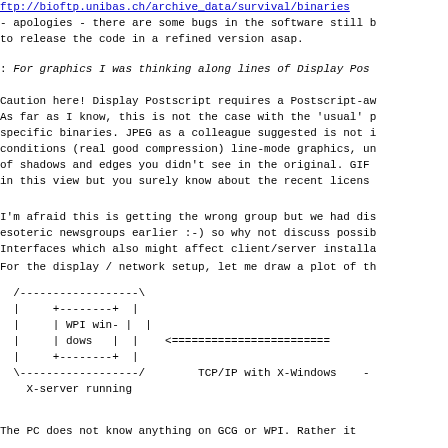ftp://bioftp.unibas.ch/archive_data/survival/binaries
- apologies - there are some bugs in the software still b
to release the code in a refined version asap.
: For graphics I was thinking along lines of Display Pos
Caution here! Display Postscript requires a Postscript-aw
As far as I know, this is not the case with the 'usual' p
specific binaries. JPEG as a colleague suggested is not i
conditions (real good compression) line-mode graphics, un
of shadows and edges you didn't see in the original. GIF
in this view but you surely know about the recent licens
I'm afraid this is getting the wrong group but we had dis
esoteric newsgroups earlier :-) so why not discuss possib
Interfaces which also might affect client/server installa
For the display / network setup, let me draw a plot of th
[Figure (schematic): ASCII art diagram showing X-server running with WPI windows box connected via TCP/IP with X-Windows]
The PC does not know anything on GCG or WPI. Rather it